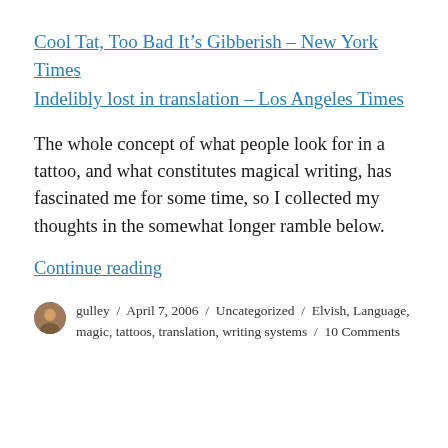Cool Tat, Too Bad It’s Gibberish – New York Times
Indelibly lost in translation – Los Angeles Times
The whole concept of what people look for in a tattoo, and what constitutes magical writing, has fascinated me for some time, so I collected my thoughts in the somewhat longer ramble below.
Continue reading
gulley / April 7, 2006 / Uncategorized / Elvish, Language, magic, tattoos, translation, writing systems / 10 Comments